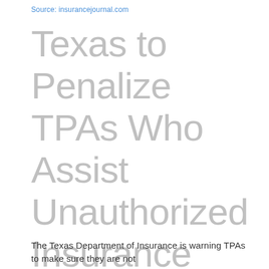Source: insurancejournal.com
Texas to Penalize TPAs Who Assist Unauthorized Insurance Businesses
The Texas Department of Insurance is warning TPAs to make sure they are not